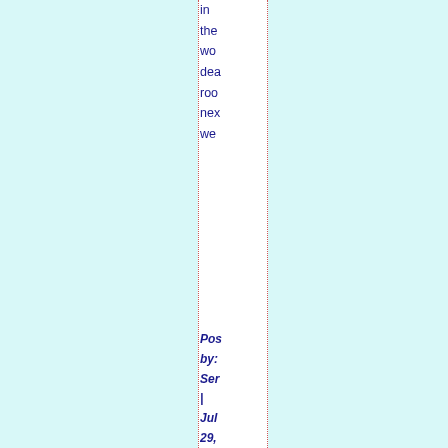in the wo dea roo nex we
Posted by: Sen | Jul 29, 200 at 08: PM
AJ. Em you rea wo add to me